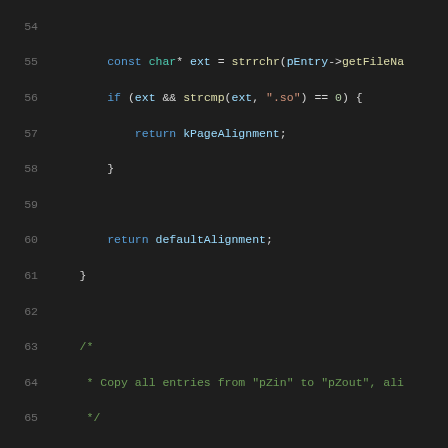[Figure (screenshot): Source code listing in a dark-themed code editor, lines 54-75, showing C++ code for file extension checking and a copyAndAlign function with ZipFile parameters.]